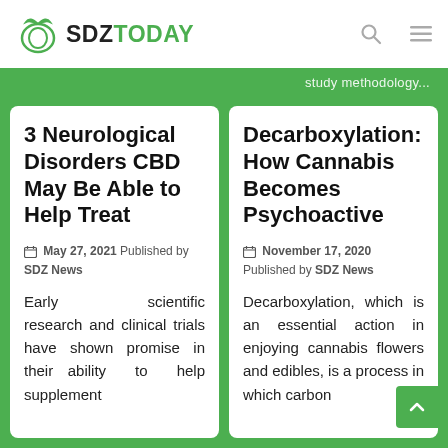SDZ TODAY
3 Neurological Disorders CBD May Be Able to Help Treat
May 27, 2021 Published by SDZ News
Early scientific research and clinical trials have shown promise in their ability to help supplement
Decarboxylation: How Cannabis Becomes Psychoactive
November 17, 2020 Published by SDZ News
Decarboxylation, which is an essential action in enjoying cannabis flowers and edibles, is a process in which carbon